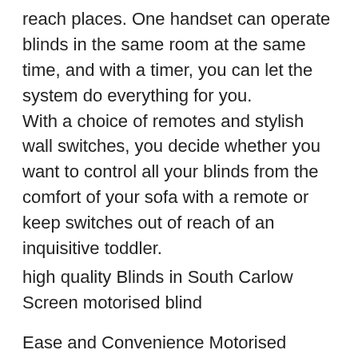reach places. One handset can operate blinds in the same room at the same time, and with a timer, you can let the system do everything for you. With a choice of remotes and stylish wall switches, you decide whether you want to control all your blinds from the comfort of your sofa with a remote or keep switches out of reach of an inquisitive toddler.
high quality Blinds in South Carlow
Screen motorised blind
Ease and Convenience Motorised blinds add a level of ease and convenience with the touch of a single button. Your entire house can be synced to a single remote control to open and close your interior blinds. There are other benefits that come with having automatic blinds beyond just the comfort. Blinds are an essential addition to your home for energy